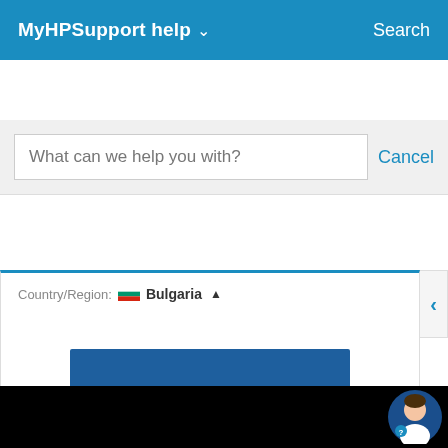MyHPSupport help  Search
What can we help you with?
Cancel
[Figure (screenshot): Contact us button panel with a back arrow tab on the right side]
Contact us
Country/Region: Bulgaria